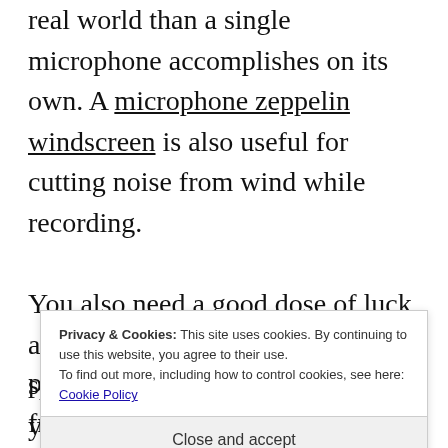real world than a single microphone accomplishes on its own. A microphone zeppelin windscreen is also useful for cutting noise from wind while recording.
You also need a good dose of luck and patience in order to find the specific species of bird or animal you're hoping to record. For a great overview of what's required for recording sounds from the wilderness, the Wildebeat Podcast has a
Privacy & Cookies: This site uses cookies. By continuing to use this website, you agree to their use.
To find out more, including how to control cookies, see here: Cookie Policy
Close and accept
podcast are how to find places free from